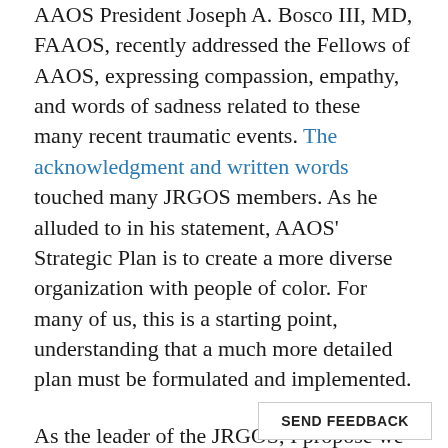AAOS President Joseph A. Bosco III, MD, FAAOS, recently addressed the Fellows of AAOS, expressing compassion, empathy, and words of sadness related to these many recent traumatic events. The acknowledgment and written words touched many JRGOS members. As he alluded to in his statement, AAOS' Strategic Plan is to create a more diverse organization with people of color. For many of us, this is a starting point, understanding that a much more detailed plan must be formulated and implemented.
As the leader of the JRGOS, I propose we raise our voices, mobilize, and be part of the solution to these racial and healthcare inequities and work hand in hand with AAOS leadership to bring about the necessary change.
In conclusion, we need to come tog...